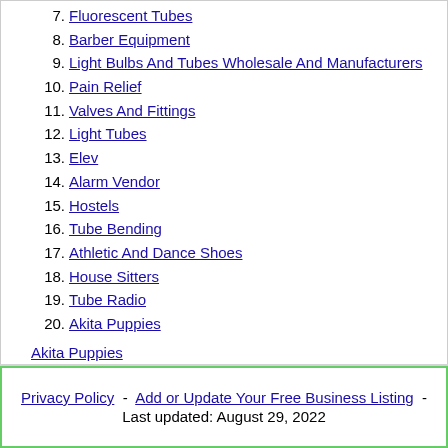7. Fluorescent Tubes
8. Barber Equipment
9. Light Bulbs And Tubes Wholesale And Manufacturers
10. Pain Relief
11. Valves And Fittings
12. Light Tubes
13. Elev
14. Alarm Vendor
15. Hostels
16. Tube Bending
17. Athletic And Dance Shoes
18. House Sitters
19. Tube Radio
20. Akita Puppies
Akita Puppies
Privacy Policy - Add or Update Your Free Business Listing - Last updated: August 29, 2022